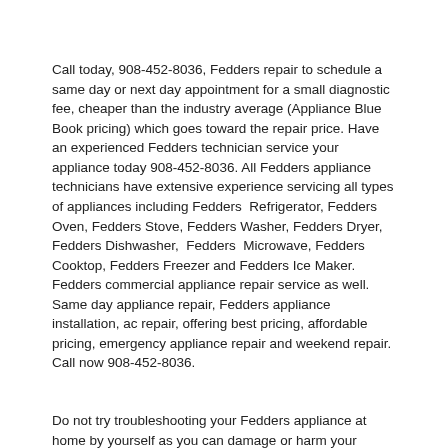Call today, 908-452-8036, Fedders repair to schedule a same day or next day appointment for a small diagnostic fee, cheaper than the industry average (Appliance Blue Book pricing) which goes toward the repair price. Have an experienced Fedders technician service your appliance today 908-452-8036. All Fedders appliance technicians have extensive experience servicing all types of appliances including Fedders Refrigerator, Fedders Oven, Fedders Stove, Fedders Washer, Fedders Dryer, Fedders Dishwasher, Fedders Microwave, Fedders Cooktop, Fedders Freezer and Fedders Ice Maker. Fedders commercial appliance repair service as well. Same day appliance repair, Fedders appliance installation, ac repair, offering best pricing, affordable pricing, emergency appliance repair and weekend repair. Call now 908-452-8036.
Do not try troubleshooting your Fedders appliance at home by yourself as you can damage or harm your appliance. The technician will not be able to work on your Fedders appliance if it has been tampered with or taken apart by another technician. The Fedders technicians are extremely experienced and affordable, so they will be able to give you a